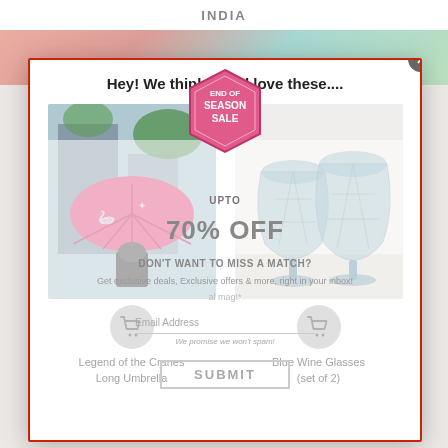INDIA
[Figure (screenshot): Website screenshot showing a colorful banner with tropical/floral pattern and furniture in background]
Hey! We think you'd love these....
[Figure (photo): Pink umbrella with crane/bird pattern held by a person, shown from below/behind]
[Figure (photo): Two blue faceted wine glasses with stems on a white surface]
[Figure (infographic): End of Season Sale badge - hexagonal pink badge with text END OF SEASON SALE; UPTO 70% OFF]
DON'T WANT TO MISS A MATCH? Get exclusive deals, Exclusive offers & more, right in your inbox!
Email Address
We promise we won't spam!
SUBMIT
Legend of the Cranes
Long Umbrella
Blue Wine Glasses
(set of 2)